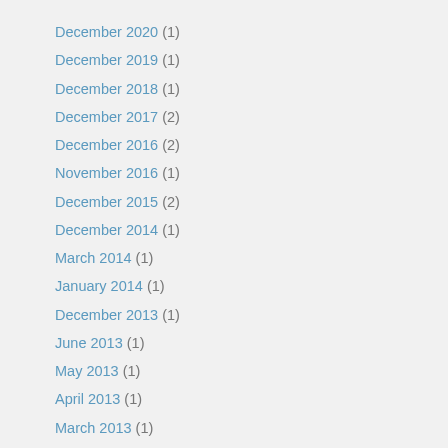December 2020 (1)
December 2019 (1)
December 2018 (1)
December 2017 (2)
December 2016 (2)
November 2016 (1)
December 2015 (2)
December 2014 (1)
March 2014 (1)
January 2014 (1)
December 2013 (1)
June 2013 (1)
May 2013 (1)
April 2013 (1)
March 2013 (1)
February 2013 (1)
December 2012 (1)
October 2012 (2)
August 2012 (1)
June 2012 (1)
May 2012 (3)
April 2012 (2)
March 2012 (2)